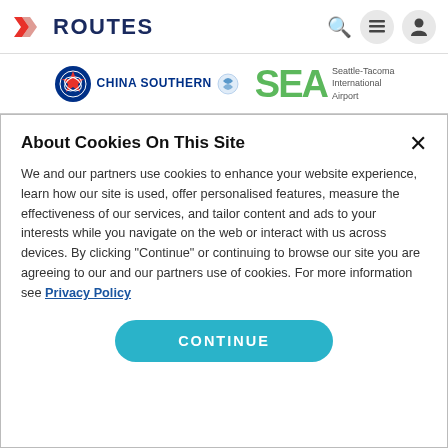[Figure (logo): Routes logo with red X icon and dark blue ROUTES text, with search, menu, and profile icons on the right]
[Figure (logo): China Southern Airlines logo and Seattle-Tacoma International Airport (SEA) logo side by side]
About Cookies On This Site
We and our partners use cookies to enhance your website experience, learn how our site is used, offer personalised features, measure the effectiveness of our services, and tailor content and ads to your interests while you navigate on the web or interact with us across devices. By clicking "Continue" or continuing to browse our site you are agreeing to our and our partners use of cookies. For more information see Privacy Policy